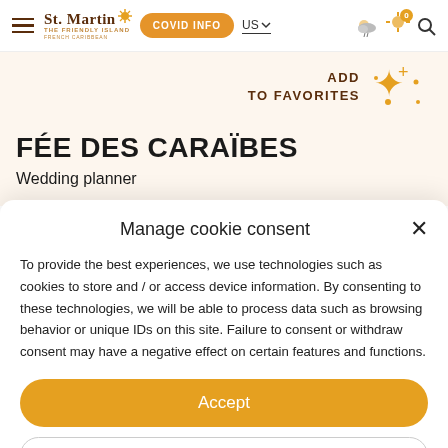St. Martin The Friendly Island French Caribbean | COVID INFO | US | Navigation
ADD
TO FAVORITES
FÉE DES CARAÏBES
Wedding planner
Manage cookie consent
To provide the best experiences, we use technologies such as cookies to store and / or access device information. By consenting to these technologies, we will be able to process data such as browsing behavior or unique IDs on this site. Failure to consent or withdraw consent may have a negative effect on certain features and functions.
Accept
Decline